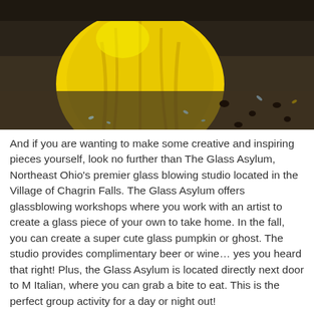[Figure (photo): A bright yellow glass pumpkin sitting on a dark perforated metal surface, with small blue glass fragments scattered around it.]
And if you are wanting to make some creative and inspiring pieces yourself, look no further than The Glass Asylum, Northeast Ohio's premier glass blowing studio located in the Village of Chagrin Falls. The Glass Asylum offers glassblowing workshops where you work with an artist to create a glass piece of your own to take home. In the fall, you can create a super cute glass pumpkin or ghost. The studio provides complimentary beer or wine… yes you heard that right! Plus, the Glass Asylum is located directly next door to M Italian, where you can grab a bite to eat. This is the perfect group activity for a day or night out!